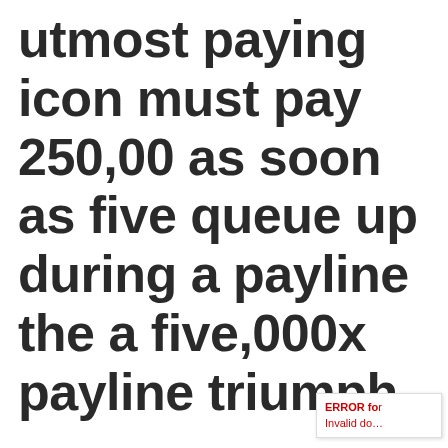utmost paying icon must pay 250,00 as soon as five queue up during a payline the a five,000x payline triumph.

In any way, who does not simply
ERROR fo... Invalid do...